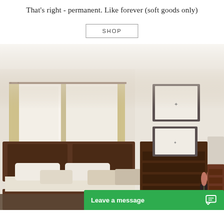That's right - permanent. Like forever (soft goods only)
SHOP
[Figure (photo): A bedroom scene with dark wood furniture including a bed with light-colored bedding and decorative pillows, a tall chest of drawers with framed artwork and decorative items on top, a dresser with mirror on the right, and two windows with tan/gold curtains. The room has light walls and hardwood floors. The image is faded/light in the upper portion.]
Leave a message